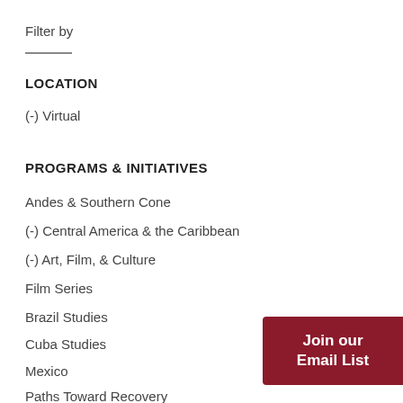Filter by
LOCATION
(-) Virtual
PROGRAMS & INITIATIVES
Andes & Southern Cone
(-) Central America & the Caribbean
(-) Art, Film, & Culture
Film Series
Brazil Studies
Cuba Studies
Mexico
Paths Toward Recovery
Join our Email List